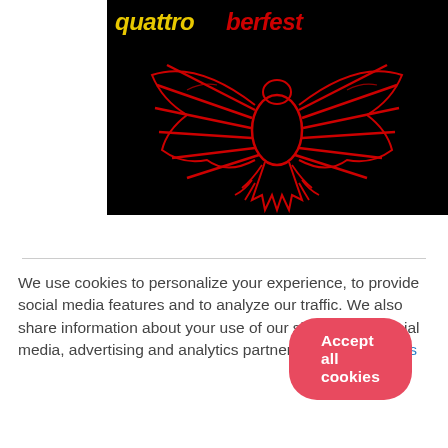[Figure (logo): Quattroberfest logo: black background with yellow italic 'quattro' and red italic 'berfest' text at top, overlaid on a stylized red neon eagle/phoenix bird design]
We use cookies to personalize your experience, to provide social media features and to analyze our traffic. We also share information about your use of our site with our social media, advertising and analytics partners. Cookie Settings
Accept all cookies